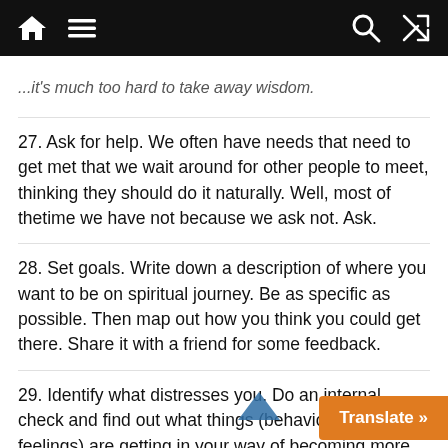Home menu Search shuffle
...it's much too hard to take away wisdom.
27. Ask for help. We often have needs that need to get met that we wait around for other people to meet, thinking they should do it naturally. Well, most of thetime we have not because we ask not. Ask.
28. Set goals. Write down a description of where you want to be on spiritual journey. Be as specific as possible. Then map out how you think you could get there. Share it with a friend for some feedback.
29. Identify what distresses you. Do an internal check and find out what things (behaviors, thoughts, feelings) are getting in your way of becoming more spiritual.
30. Set boundaries. Allow yourself to be a loving person. Be kind, caring and gracious, bu...